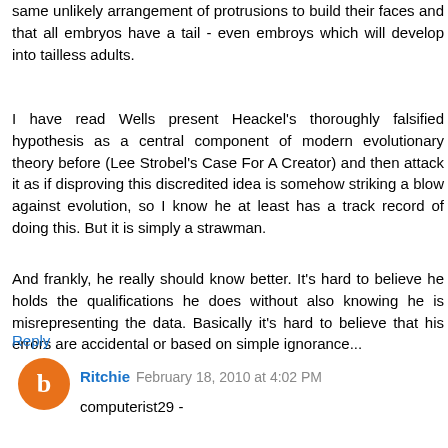same unlikely arrangement of protrusions to build their faces and that all embryos have a tail - even embroys which will develop into tailless adults.
I have read Wells present Heackel's thoroughly falsified hypothesis as a central component of modern evolutionary theory before (Lee Strobel's Case For A Creator) and then attack it as if disproving this discredited idea is somehow striking a blow against evolution, so I know he at least has a track record of doing this. But it is simply a strawman.
And frankly, he really should know better. It's hard to believe he holds the qualifications he does without also knowing he is misrepresenting the data. Basically it's hard to believe that his errors are accidental or based on simple ignorance...
Reply
Ritchie  February 18, 2010 at 4:02 PM
computerist29 -